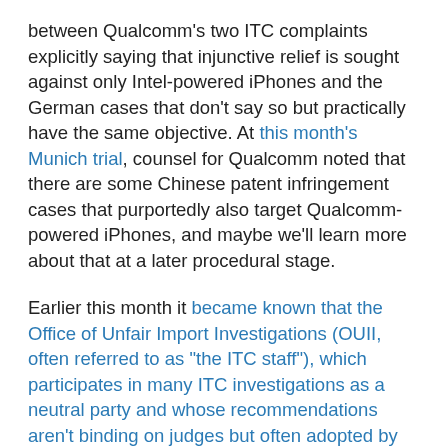between Qualcomm's two ITC complaints explicitly saying that injunctive relief is sought against only Intel-powered iPhones and the German cases that don't say so but practically have the same objective. At this month's Munich trial, counsel for Qualcomm noted that there are some Chinese patent infringement cases that purportedly also target Qualcomm-powered iPhones, and maybe we'll learn more about that at a later procedural stage.
Earlier this month it became known that the Office of Unfair Import Investigations (OUII, often referred to as "the ITC staff"), which participates in many ITC investigations as a neutral party and whose recommendations aren't binding on judges but often adopted by them and, especially, the Commission later on, raised public-interest concerns in the investigation of Qualcomm's second ITC complaint against Apple. Same issue there: targeting only Intel-powered iPhones. Formally those are two separate investigations, and in the first investigation no such recommendation was given, but it may very well have had an impact on ALJ Pender's recommendation regarding remedies, and it will without a doubt bear considerable weight with the Commission in the